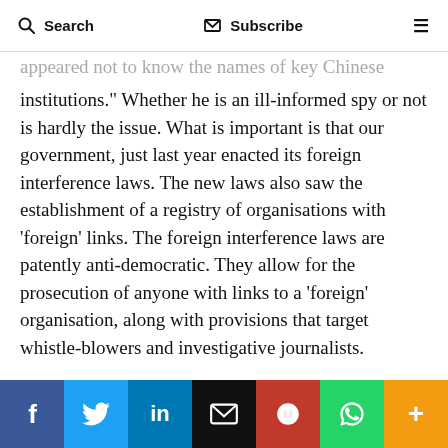Search | Subscribe | Menu
appeared not to know the names of key Chinese institutions.” Whether he is an ill-informed spy or not is hardly the issue. What is important is that our government, just last year enacted its foreign interference laws. The new laws also saw the establishment of a registry of organisations with ‘foreign’ links. The foreign interference laws are patently anti-democratic. They allow for the prosecution of anyone with links to a ‘foreign’ organisation, along with provisions that target whistle-blowers and investigative journalists.

Recent events are more than a little interesting.